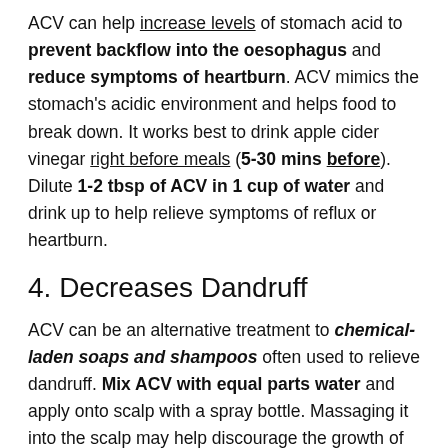ACV can help increase levels of stomach acid to prevent backflow into the oesophagus and reduce symptoms of heartburn. ACV mimics the stomach's acidic environment and helps food to break down. It works best to drink apple cider vinegar right before meals (5-30 mins before). Dilute 1-2 tbsp of ACV in 1 cup of water and drink up to help relieve symptoms of reflux or heartburn.
4. Decreases Dandruff
ACV can be an alternative treatment to chemical-laden soaps and shampoos often used to relieve dandruff. Mix ACV with equal parts water and apply onto scalp with a spray bottle. Massaging it into the scalp may help discourage the growth of Malassezia, a specific strain of fungus that contributes to dandruff and dry, itchy scalp. Leave it on for 1-2 hours with a shower cap, then rinse it